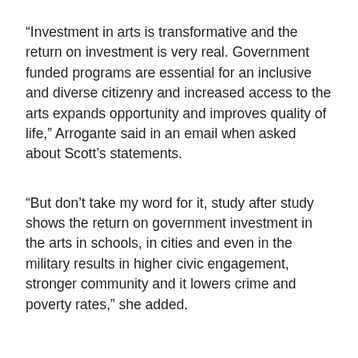“Investment in arts is transformative and the return on investment is very real. Government funded programs are essential for an inclusive and diverse citizenry and increased access to the arts expands opportunity and improves quality of life,” Arrogante said in an email when asked about Scott’s statements.
“But don’t take my word for it, study after study shows the return on government investment in the arts in schools, in cities and even in the military results in higher civic engagement, stronger community and it lowers crime and poverty rates,” she added.